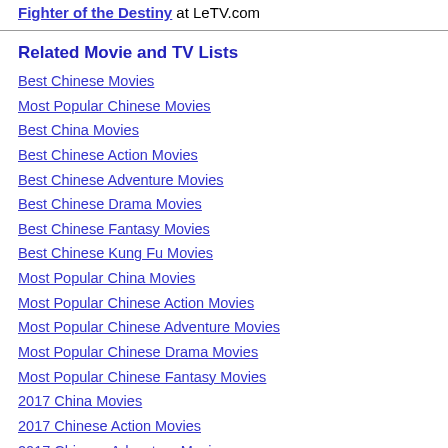Fighter of the Destiny at LeTV.com
Related Movie and TV Lists
Best Chinese Movies
Most Popular Chinese Movies
Best China Movies
Best Chinese Action Movies
Best Chinese Adventure Movies
Best Chinese Drama Movies
Best Chinese Fantasy Movies
Best Chinese Kung Fu Movies
Most Popular China Movies
Most Popular Chinese Action Movies
Most Popular Chinese Adventure Movies
Most Popular Chinese Drama Movies
Most Popular Chinese Fantasy Movies
2017 China Movies
2017 Chinese Action Movies
2017 Chinese Adventure Movies